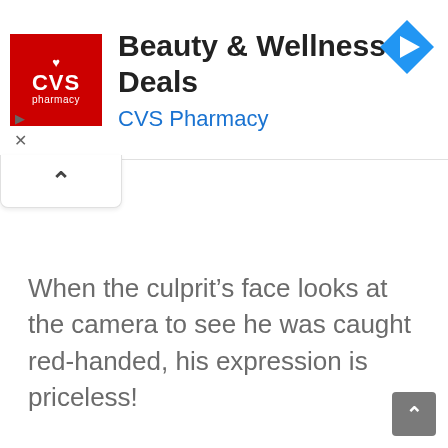[Figure (screenshot): CVS Pharmacy advertisement banner with red CVS logo, 'Beauty & Wellness Deals' title in black, 'CVS Pharmacy' subtitle in blue, and a blue diamond-shaped navigation arrow icon in the top right. Below the banner is a white collapse tab with an upward chevron.]
When the culprit’s face looks at the camera to see he was caught red-handed, his expression is priceless!